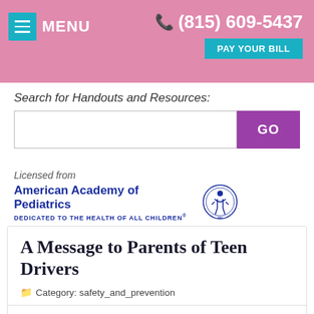MENU  (815) 609-5437  PAY YOUR BILL
Search for Handouts and Resources:
[Figure (other): Search input field with GO button]
[Figure (logo): Licensed from American Academy of Pediatrics - DEDICATED TO THE HEALTH OF ALL CHILDREN logo with circular seal]
A Message to Parents of Teen Drivers
Category: safety_and_prevention
Traffic crashes are the leading cause of death for